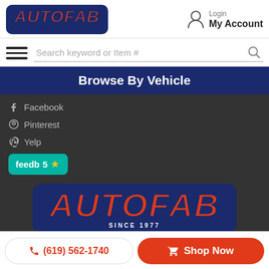[Figure (logo): AutoFab Since 1977 logo in red italic text with dark blue background]
[Figure (other): User account icon with Login / My Account text]
[Figure (other): Hamburger menu icon (three horizontal lines)]
Search keyword or Item #
Browse By Vehicle
Facebook
Pinterest
Yelp
[Figure (logo): Feedb 5 star badge in teal/green]
[Figure (logo): Large AutoFab Since 1977 logo on dark background]
(619) 562-1740
Shop Now